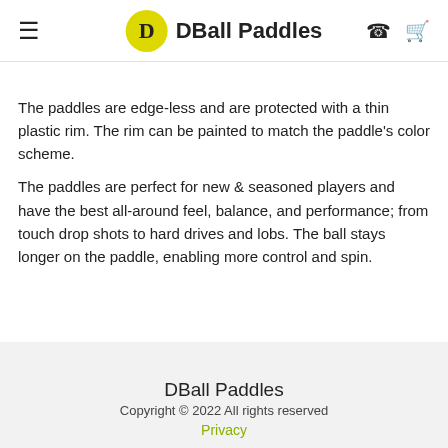DBall Paddles
The paddles are edge-less and are protected with a thin plastic rim. The rim can be painted to match the paddle's color scheme. The paddles are perfect for new & seasoned players and have the best all-around feel, balance, and performance; from touch drop shots to hard drives and lobs. The ball stays longer on the paddle, enabling more control and spin.
DBall Paddles
Copyright © 2022 All rights reserved
Privacy